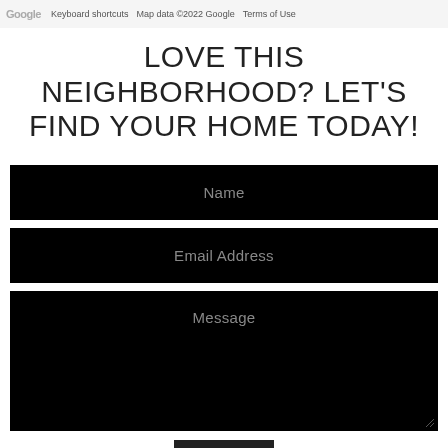Google  Keyboard shortcuts  Map data ©2022 Google  Terms of Use
LOVE THIS NEIGHBORHOOD? LET'S FIND YOUR HOME TODAY!
Name
Email Address
Message